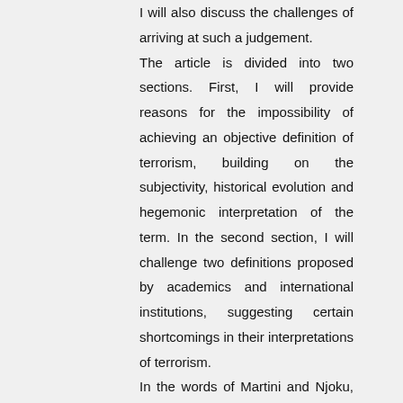I will also discuss the challenges of arriving at such a judgement. The article is divided into two sections. First, I will provide reasons for the impossibility of achieving an objective definition of terrorism, building on the subjectivity, historical evolution and hegemonic interpretation of the term. In the second section, I will challenge two definitions proposed by academics and international institutions, suggesting certain shortcomings in their interpretations of terrorism. In the words of Martini and Njoku, "defining this phenomenon (terrorism) is